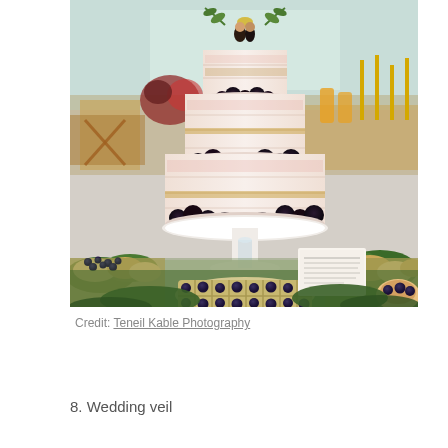[Figure (photo): A three-tiered naked wedding cake decorated with fresh blackberries, topped with a wedding cake topper of two figures and olive branch greenery. The cake sits on a white cake stand on a dessert table surrounded by blueberry tarts, scones, cookies, and lush greenery. A calligraphy menu card is visible in the background. The reception tables with gold candles and floral arrangements are visible in the background.]
Credit: Teneil Kable Photography
8. Wedding veil